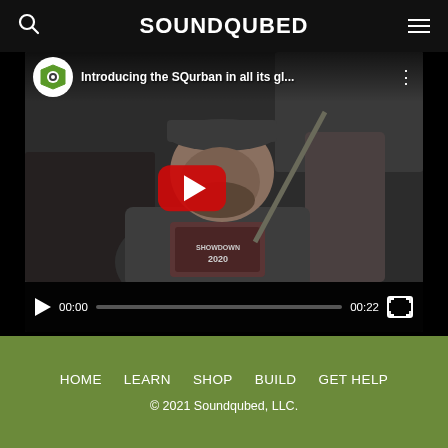SOUNDQUBED
[Figure (screenshot): YouTube video embed showing a man sitting in a vehicle interior wearing a hoodie with 'SHOWDOWN 2020' text. Video title reads 'Introducing the SQurban in all its gl...' with SoundQubed logo. Video controls show 00:00 current time and 00:22 duration. Large red YouTube play button in center.]
HOME  LEARN  SHOP  BUILD  GET HELP
© 2021 Soundqubed, LLC.